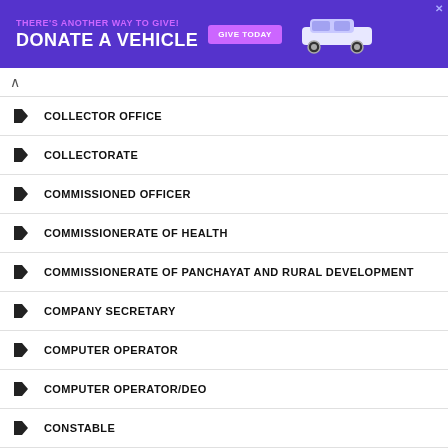[Figure (illustration): Purple advertisement banner: 'THERE'S ANOTHER WAY TO GIVE! DONATE A VEHICLE' with a 'GIVE TODAY' button and a white car illustration]
COLLECTOR OFFICE
COLLECTORATE
COMMISSIONED OFFICER
COMMISSIONERATE OF HEALTH
COMMISSIONERATE OF PANCHAYAT AND RURAL DEVELOPMENT
COMPANY SECRETARY
COMPUTER OPERATOR
COMPUTER OPERATOR/DEO
CONSTABLE
COOPERATIVE BANK LIMITED
COOPERATIVE DEPARTMENT